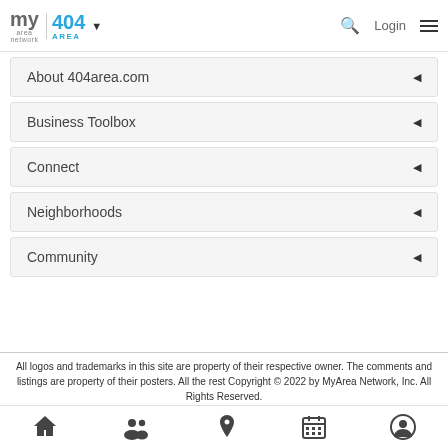my area network | 404 AREA | Login
About 404area.com
Business Toolbox
Connect
Neighborhoods
Community
All logos and trademarks in this site are property of their respective owner. The comments and listings are property of their posters. All the rest Copyright © 2022 by MyArea Network, Inc. All Rights Reserved.